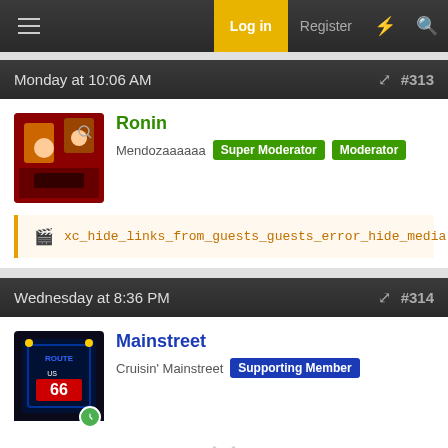Log in  Register
Monday at 10:06 AM  #313
Ronin
Mendozaaaaaa  Super Moderator  Moderator
xc_hide_links_from_guests_guests_error_hide_media
Wednesday at 8:36 PM  #314
Mainstreet
Cruisin' Mainstreet  Supporting Member
Talk about getting into a punt.